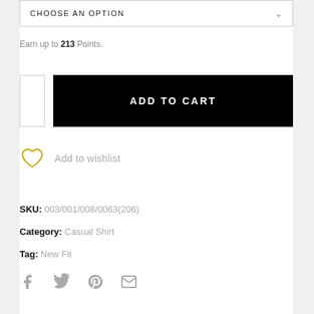CHOOSE AN OPTION
Earn up to 213 Points.
ADD TO CART
Add to wishlist
SKU: 003/001/008/0063(206)
Category: Casual Shirt
Tag: New Fit
[Figure (other): Social share icons: Facebook, Twitter, Pinterest, Email]